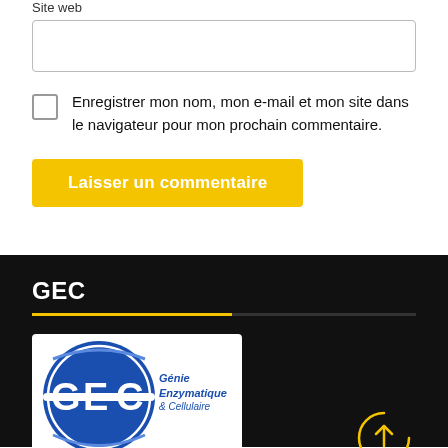Site web
Enregistrer mon nom, mon e-mail et mon site dans le navigateur pour mon prochain commentaire.
Laisser un commentaire
GEC
[Figure (logo): GEC logo - Génie Enzymatique & Cellulaire with blue circular emblem]
[Figure (other): Scroll to top button - yellow arrow circle]